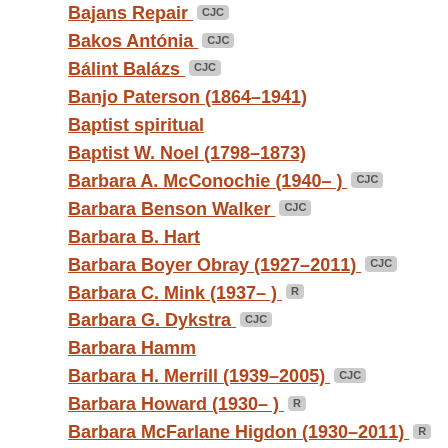Bajans Repair  CJC
Bakos Antónia  CJC
Bálint Balázs  CJC
Banjo Paterson (1864–1941)
Baptist spiritual
Baptist W. Noel (1798–1873)
Barbara A. McConochie (1940– )  CJC
Barbara Benson Walker  CJC
Barbara B. Hart
Barbara Boyer Obray (1927–2011)  CJC
Barbara C. Mink (1937– )  R
Barbara G. Dykstra  CJC
Barbara Hamm
Barbara H. Merrill (1939–2005)  CJC
Barbara Howard (1930– )  R
Barbara McFarlane Higdon (1930–2011)  R
Barbara Tanner
Barbara W. Cramer
Barbara Woollett
Barby Litchfield
Barlow Bradford  CJC
Barnes